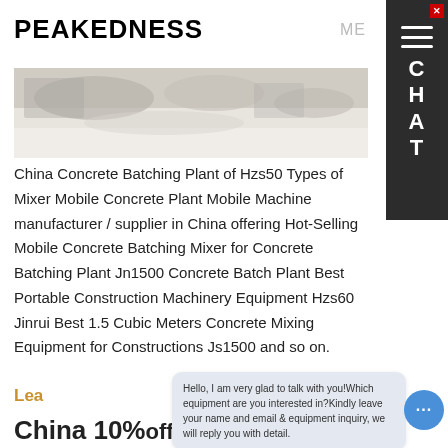PEAKEDNESS
[Figure (photo): Partial view of a concrete batching plant or industrial machinery equipment, showing aggregate materials and machinery components.]
China Concrete Batching Plant of Hzs50 Types of Mixer Mobile Concrete Plant Mobile Machine manufacturer / supplier in China offering Hot-Selling Mobile Concrete Batching Mixer for Concrete Batching Plant Jn1500 Concrete Batch Plant Best Portable Construction Machinery Equipment Hzs60 Jinrui Best 1.5 Cubic Meters Concrete Mixing Equipment for Constructions Js1500 and so on.
Lea
Hello, I am very glad to talk with you!Which equipment are you interested in?Kindly leave your name and email & equipment inquiry, we will reply you with detail.
China 10%...